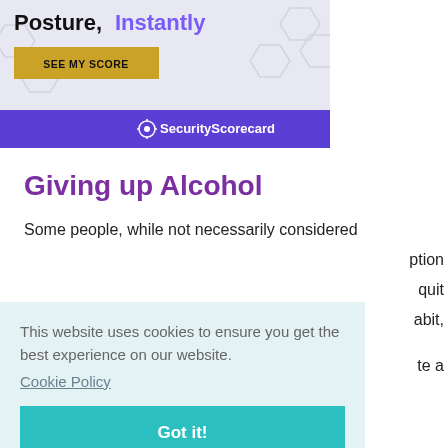[Figure (screenshot): Advertisement banner for SecurityScorecard showing 'Posture, Instantly' headline in black and purple, a gold 'SEE MY SCORE' button, hexagonal background pattern, and purple SecurityScorecard logo footer bar.]
Giving up Alcohol
Some people, while not necessarily considered ... ption ... quit ... abit, ... te a
This website uses cookies to ensure you get the best experience on our website.
Cookie Policy
Got it!
acquaintances who do the same, so